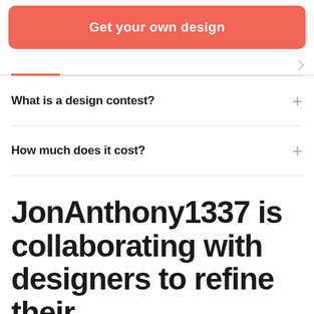[Figure (other): Red/coral rounded button with white bold text 'Get your own design']
What is a design contest?
How much does it cost?
JonAnthony1337 is collaborating with designers to refine their